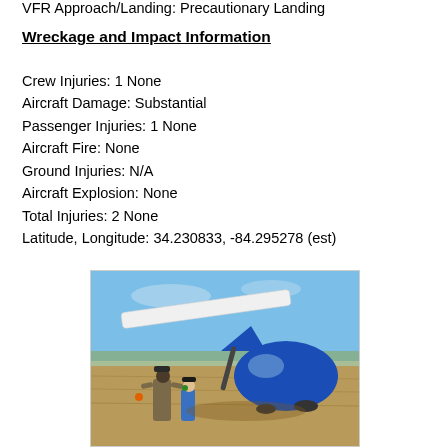VFR Approach/Landing: Precautionary Landing
Wreckage and Impact Information
Crew Injuries: 1 None
Aircraft Damage: Substantial
Passenger Injuries: 1 None
Aircraft Fire: None
Ground Injuries: N/A
Aircraft Explosion: None
Total Injuries: 2 None
Latitude, Longitude: 34.230833, -84.295278 (est)
[Figure (photo): Two people (an adult and a child) standing next to a crashed small blue aircraft in a field. The plane appears to have sustained substantial damage, resting on its side in dry grass under a blue sky.]